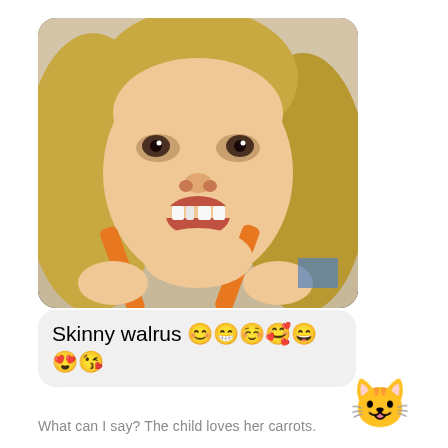[Figure (photo): Close-up photo of a young blonde child holding two carrot sticks up to her mouth like walrus tusks, making a funny face. The image has rounded corners like an iMessage photo bubble.]
Skinny walrus 😊😁☺️🥰😄😍😘
[Figure (illustration): Cat face emoji (😺) appearing as a reaction to the message]
What can I say? The child loves her carrots.